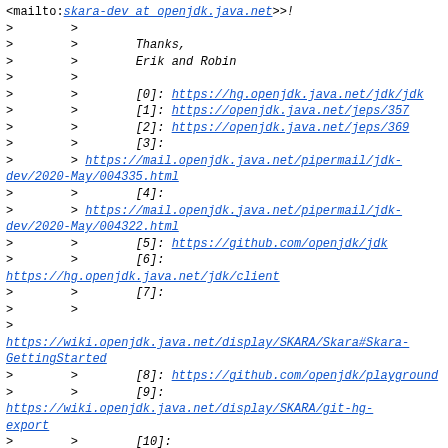<mailto:skara-dev at openjdk.java.net>>!
>	>
>	>		Thanks,
>	>		Erik and Robin
>	>
>	>		[0]: https://hg.openjdk.java.net/jdk/jdk
>	>		[1]: https://openjdk.java.net/jeps/357
>	>		[2]: https://openjdk.java.net/jeps/369
>	>		[3]:
>		> https://mail.openjdk.java.net/pipermail/jdk-dev/2020-May/004335.html
>	>		[4]:
>		> https://mail.openjdk.java.net/pipermail/jdk-dev/2020-May/004322.html
>	>		[5]: https://github.com/openjdk/jdk
>	>		[6]:
https://hg.openjdk.java.net/jdk/client
>	>		[7]:
>	>
>
https://wiki.openjdk.java.net/display/SKARA/Skara#Skara-GettingStarted
>	>		[8]: https://github.com/openjdk/playground
>	>		[9]:
https://wiki.openjdk.java.net/display/SKARA/git-hg-export
>	>		[10]:
https://hg.openjdk.java.net/jdk/submit
>	>		[11]:
>	>